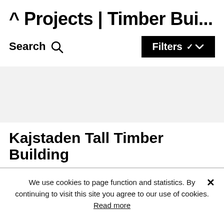^ Projects | Timber Bui...
Search  🔍   Filters ∨
[Figure (other): Gray placeholder area for project images or map]
Kajstaden Tall Timber Building
We use cookies to page function and statistics. By continuing to visit this site you agree to our use of cookies. Read more
Ok, I accept cookies